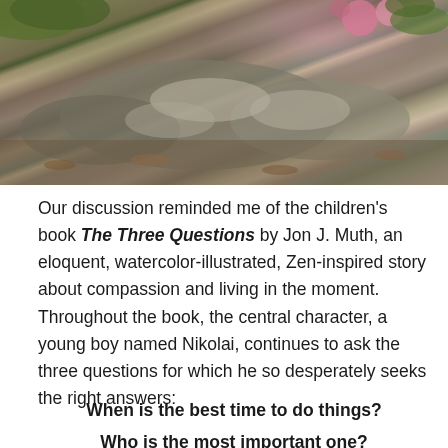[Figure (photo): Outdoor garden photo showing large rocks and stones surrounded by mulch, with hostas and pink coneflowers (echinacea) visible at the top.]
Our discussion reminded me of the children's book The Three Questions by Jon J. Muth, an eloquent, watercolor-illustrated, Zen-inspired story about compassion and living in the moment. Throughout the book, the central character, a young boy named Nikolai, continues to ask the three questions for which he so desperately seeks the right answers:
When is the best time to do things?
Who is the most important one?